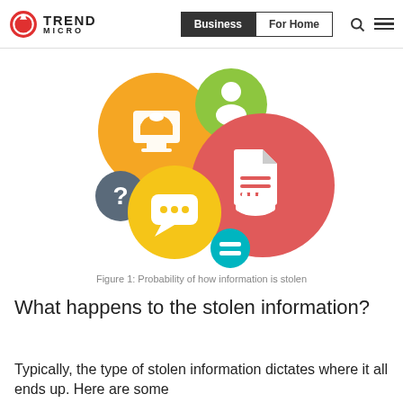Trend Micro | Business | For Home
[Figure (infographic): Circular icons illustrating ways information is stolen: orange circle with monitor/cloud icon, green circle with person icon, dark grey circle with question mark, yellow circle with chat bubble icon, large red circle with document/hand icon, teal circle with equals sign.]
Figure 1: Probability of how information is stolen
What happens to the stolen information?
Typically, the type of stolen information dictates where it all ends up. Here are some